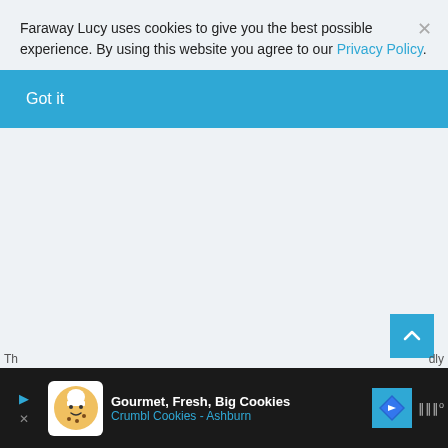Faraway Lucy uses cookies to give you the best possible experience. By using this website you agree to our Privacy Policy.
Got it
[Figure (screenshot): Scroll to top button — blue square with upward chevron arrow, positioned bottom right]
[Figure (screenshot): Advertisement bar at bottom: Gourmet, Fresh, Big Cookies — Crumbl Cookies - Ashburn, with cookie logo icon and navigation arrow icon]